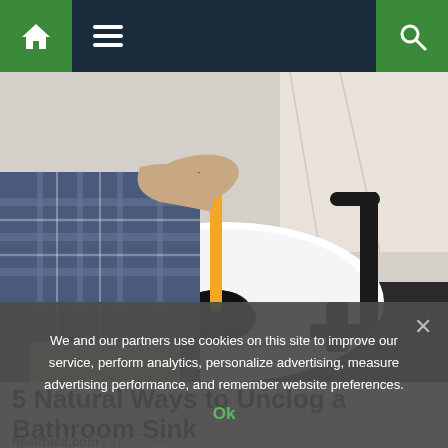Navigation bar with home, menu, and search icons
[Figure (photo): Person using a black rubber plunger with yellow handle on a white bathroom sink, with a black modern faucet visible on the right]
5 Natural Ways to Unclog a Bathroom Sink
healthick.com | Sponsored
We and our partners use cookies on this site to improve our service, perform analytics, personalize advertising, measure advertising performance, and remember website preferences.
Ok